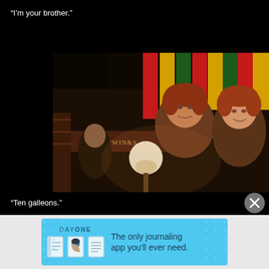“I’m your brother.”
[Figure (photo): Movie still showing two characters with red/auburn hair in a dimly lit indoor setting, possibly a shop or bar, with warm lighting and colorful decorations in the background.]
“Ten galleons.”
[Figure (other): Close button (X in circle)]
[Figure (infographic): Day One journaling app advertisement banner with blue background, app icons, and text: The only journaling app you'll ever need.]